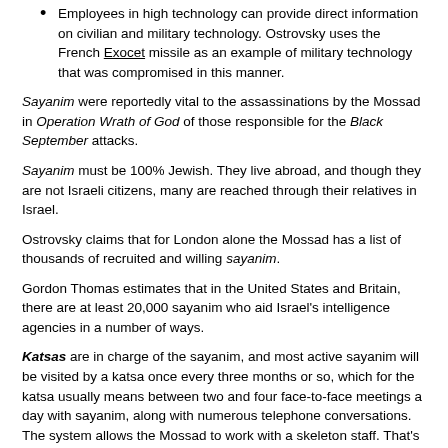Employees in high technology can provide direct information on civilian and military technology. Ostrovsky uses the French Exocet missile as an example of military technology that was compromised in this manner.
Sayanim were reportedly vital to the assassinations by the Mossad in Operation Wrath of God of those responsible for the Black September attacks.
Sayanim must be 100% Jewish. They live abroad, and though they are not Israeli citizens, many are reached through their relatives in Israel.
Ostrovsky claims that for London alone the Mossad has a list of thousands of recruited and willing sayanim.
Gordon Thomas estimates that in the United States and Britain, there are at least 20,000 sayanim who aid Israel's intelligence agencies in a number of ways.
Katsas are in charge of the sayanim, and most active sayanim will be visited by a katsa once every three months or so, which for the katsa usually means between two and four face-to-face meetings a day with sayanim, along with numerous telephone conversations. The system allows the Mossad to work with a skeleton staff. That's why, for example, a CIA station would employ about 100 people, while a comparable Mossad station would